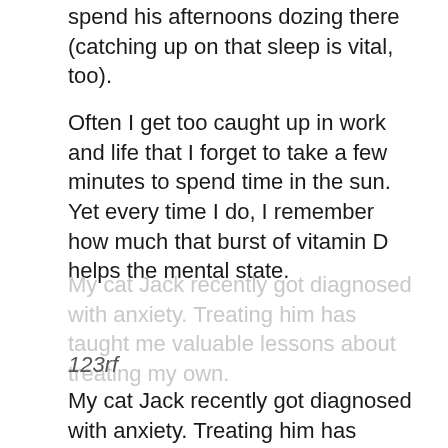spend his afternoons dozing there (catching up on that sleep is vital, too).
Often I get too caught up in work and life that I forget to take a few minutes to spend time in the sun. Yet every time I do, I remember how much that burst of vitamin D helps the mental state.
My cat Jack recently got diagnosed with anxiety. Treating him has taught me valuable lessons about treating my own.
123rf
My cat Jack recently got diagnosed with anxiety. Treating him has taught me valuable lessons about treating my own.